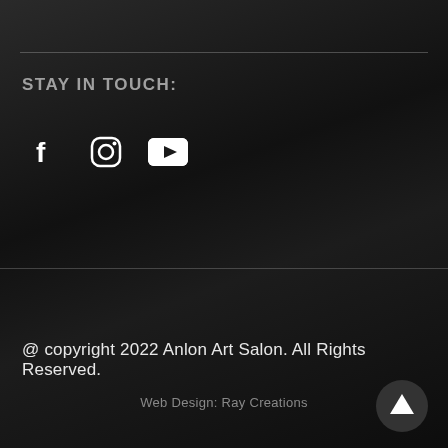STAY IN TOUCH:
[Figure (illustration): Social media icons: Facebook (f), Instagram (camera), YouTube (play button triangle)]
@ copyright 2022 Anlon Art Salon. All Rights Reserved.
Web Design: Ray Creations